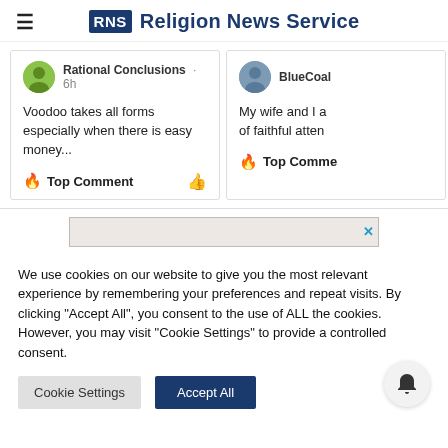RNS Religion News Service
Rational Conclusions · 6h
Voodoo takes all forms especially when there is easy money...
🔥 Top Comment
BlueCoal
My wife and I a... of faithful atten...
🔥 Top Comme
[Figure (other): Advertisement banner with close (X) button]
We use cookies on our website to give you the most relevant experience by remembering your preferences and repeat visits. By clicking "Accept All", you consent to the use of ALL the cookies. However, you may visit "Cookie Settings" to provide a controlled consent.